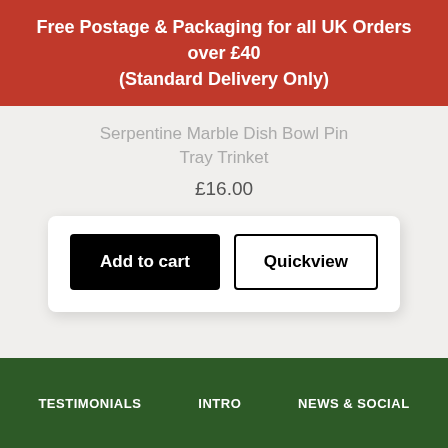Free Postage & Packaging for all UK Orders over £40 (Standard Delivery Only)
Serpentine Marble Dish Bowl Pin Tray Trinket
£16.00
[Figure (screenshot): Two buttons: 'Add to cart' (black background, white text) and 'Quickview' (white background, black border and text), inside a white rounded card.]
TESTIMONIALS   INTRO   NEWS & SOCIAL